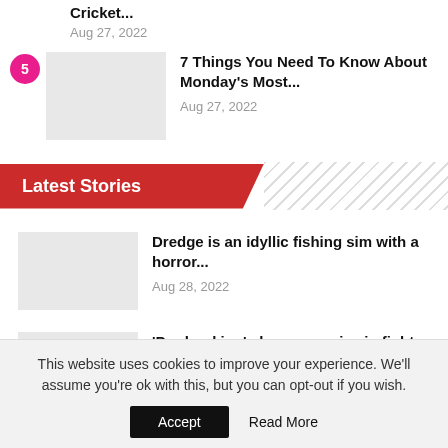Cricket...
Aug 27, 2022
5 — 7 Things You Need To Know About Monday's Most...
Aug 27, 2022
Latest Stories
Dredge is an idyllic fishing sim with a horror...
Aug 28, 2022
'Pre-bunking' shows promise in fight...
Aug 28, 2022
This website uses cookies to improve your experience. We'll assume you're ok with this, but you can opt-out if you wish.